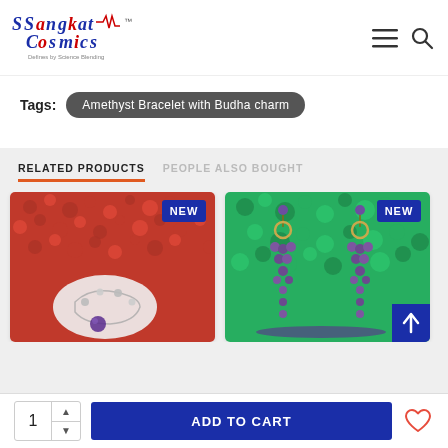[Figure (logo): Sangkat Cosmics logo with stylized text in blue and red]
Tags: Amethyst Bracelet with Budha charm
RELATED PRODUCTS | PEOPLE ALSO BOUGHT
[Figure (photo): Jewelry bracelet on red textured background, NEW badge]
[Figure (photo): Purple earrings on green background, NEW badge]